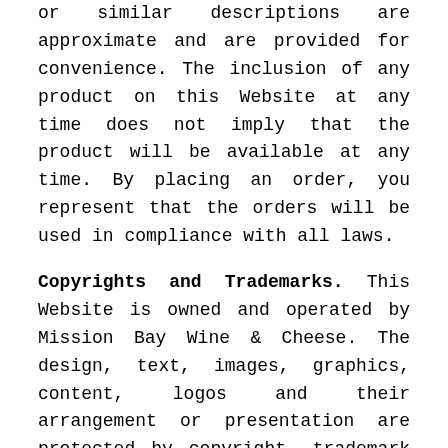or similar descriptions are approximate and are provided for convenience. The inclusion of any product on this Website at any time does not imply that the product will be available at any time. By placing an order, you represent that the orders will be used in compliance with all laws.
Copyrights and Trademarks. This Website is owned and operated by Mission Bay Wine & Cheese. The design, text, images, graphics, content, logos and their arrangement or presentation are protected by copyright, trademark and other laws. You may use the content of this Website solely for the purposes of shopping, or placing an order.